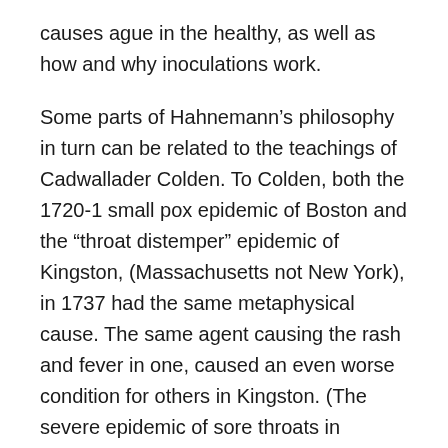causes ague in the healthy, as well as how and why inoculations work.
Some parts of Hahnemann's philosophy in turn can be related to the teachings of Cadwallader Colden. To Colden, both the 1720-1 small pox epidemic of Boston and the “throat distemper” epidemic of Kingston, (Massachusetts not New York), in 1737 had the same metaphysical cause. The same agent causing the rash and fever in one, caused an even worse condition for others in Kingston. (The severe epidemic of sore throats in Kingston in 1737 noted by Colden was probably a diphtheria epidemic, with an unusual manifestation of severe skin rash on the neck resembling pox or measles. Scrofula, the atypical non-pulmonary manifestation of the organism responsible for consumption or tuberculosis, is another possibility but is not restricted to the neck.)